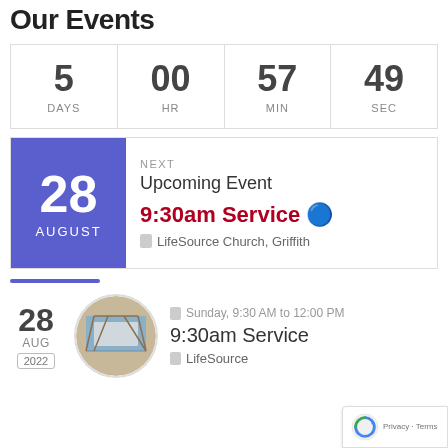Our Events
| 5 DAYS | 00 HR | 57 MIN | 49 SEC |
| --- | --- | --- | --- |
NEXT
Upcoming Event
9:30am Service 🔴
📍 LifeSource Church, Griffith
28 AUGUST
28
AUG
2022
Sunday, 9:30 AM to 12:00 PM
9:30am Service
📍 LifeSource